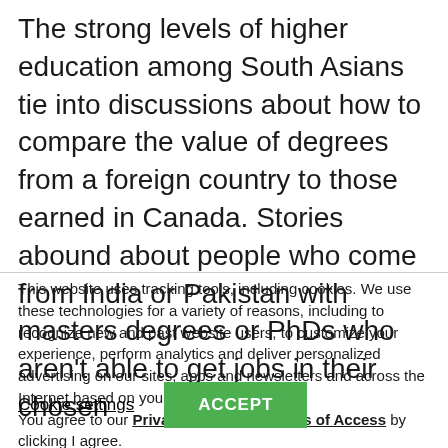The strong levels of higher education among South Asians tie into discussions about how to compare the value of degrees from a foreign country to those earned in Canada. Stories abound about people who come from India or Pakistan with masters degrees or PhDs who aren't able to get jobs in their chosen
This website uses tracking tools, including cookies. We use these technologies for a variety of reasons, including to recognize new and past website users, to customize your experience, perform analytics and deliver personalized advertising on our sites, apps and newsletters and across the Internet based on your interests.
You agree to our Privacy Policy and Terms of Access by clicking I agree.
Cookie settings
ACCEPT